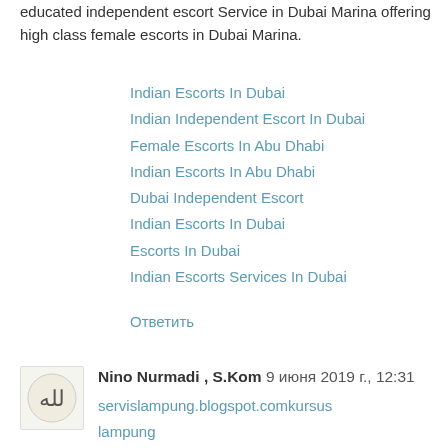educated independent escort Service in Dubai Marina offering high class female escorts in Dubai Marina.
Indian Escorts In Dubai
Indian Independent Escort In Dubai
Female Escorts In Abu Dhabi
Indian Escorts In Abu Dhabi
Dubai Independent Escort
Indian Escorts In Dubai
Escorts In Dubai
Indian Escorts Services In Dubai
Ответить
Nino Nurmadi , S.Kom  9 июня 2019 г., 12:31
servislampung.blogspot.comkursus
lampung
kursus
kursus
pulsa
Kursus